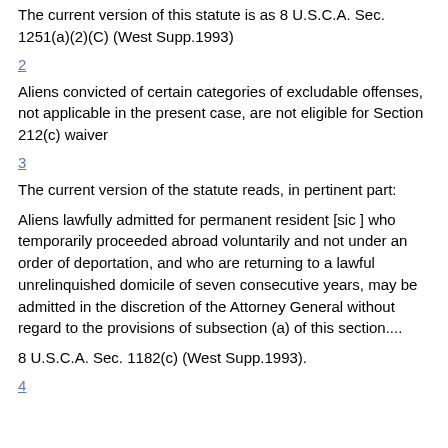The current version of this statute is as 8 U.S.C.A. Sec. 1251(a)(2)(C) (West Supp.1993)
2
Aliens convicted of certain categories of excludable offenses, not applicable in the present case, are not eligible for Section 212(c) waiver
3
The current version of the statute reads, in pertinent part:
Aliens lawfully admitted for permanent resident [sic ] who temporarily proceeded abroad voluntarily and not under an order of deportation, and who are returning to a lawful unrelinquished domicile of seven consecutive years, may be admitted in the discretion of the Attorney General without regard to the provisions of subsection (a) of this section....
8 U.S.C.A. Sec. 1182(c) (West Supp.1993).
4